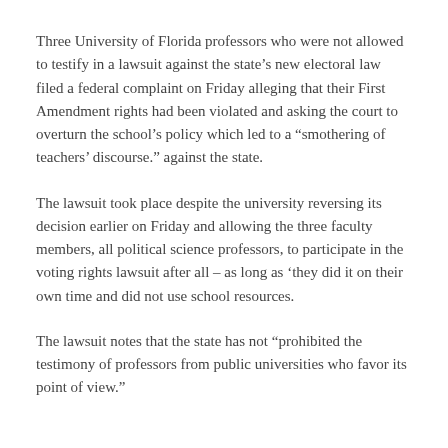Three University of Florida professors who were not allowed to testify in a lawsuit against the state’s new electoral law filed a federal complaint on Friday alleging that their First Amendment rights had been violated and asking the court to overturn the school’s policy which led to a “smothering of teachers’ discourse.” against the state.
The lawsuit took place despite the university reversing its decision earlier on Friday and allowing the three faculty members, all political science professors, to participate in the voting rights lawsuit after all – as long as ‘they did it on their own time and did not use school resources.
The lawsuit notes that the state has not “prohibited the testimony of professors from public universities who favor its point of view.”